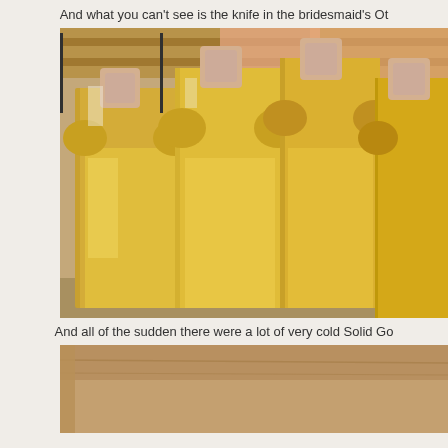And what you can't see is the knife in the bridesmaid's O...
[Figure (photo): Four women wearing shiny gold metallic bridesmaid dresses with puffed sleeves, faces pixelated/blurred, standing together indoors in front of wooden shelving and fabric backdrop]
And all of the sudden there were a lot of very cold Solid Go...
[Figure (photo): A wooden surface or table, partially visible, cropped at the bottom of the page]